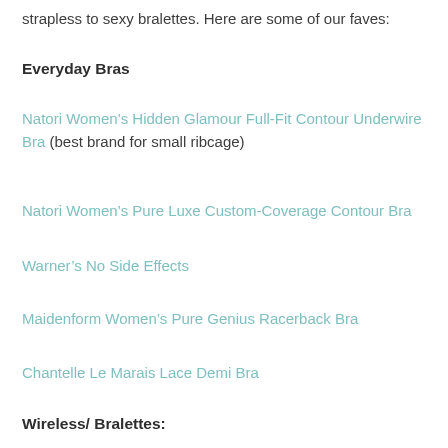strapless to sexy bralettes. Here are some of our faves:
Everyday Bras
Natori Women's Hidden Glamour Full-Fit Contour Underwire Bra (best brand for small ribcage)
Natori Women's Pure Luxe Custom-Coverage Contour Bra
Warner's No Side Effects
Maidenform Women's Pure Genius Racerback Bra
Chantelle Le Marais Lace Demi Bra
Wireless/ Bralettes: